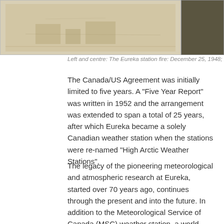[Figure (photo): Two historical photographs side by side: left/centre shows the Eureka station fire scene (sepia-toned, larger), right shows a darker image partially visible at edge.]
Left and centre: The Eureka station fire: December 25, 1948; Right: M
The Canada/US Agreement was initially limited to five years. A “Five Year Report” was written in 1952 and the arrangement was extended to span a total of 25 years, after which Eureka became a solely Canadian weather station when the stations were re-named “High Arctic Weather Stations”.
The legacy of the pioneering meteorological and atmospheric research at Eureka, started over 70 years ago, continues through the present and into the future. In addition to the Meteorological Service of Canada (MSC) weather station, a world-class atmospheric